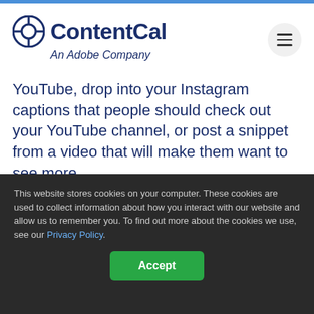ContentCal — An Adobe Company
YouTube, drop into your Instagram captions that people should check out your YouTube channel, or post a snippet from a video that will make them want to see more.
Where you're going to be visible is a lot of the time down to WHO you're talking to! If you're talking to 45-60-year-old businessmen, they're more likely to be on LinkedIn than TikTok.
This website stores cookies on your computer. These cookies are used to collect information about how you interact with our website and allow us to remember you. To find out more about the cookies we use, see our Privacy Policy.